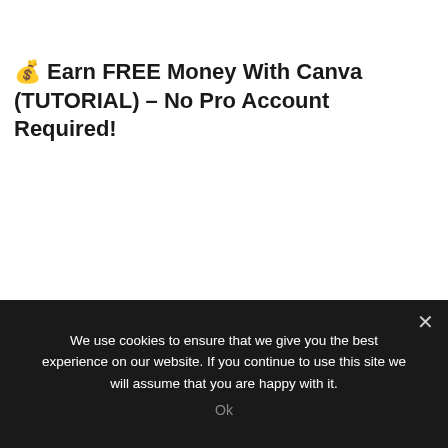💰 Earn FREE Money With Canva (TUTORIAL) – No Pro Account Required!
We use cookies to ensure that we give you the best experience on our website. If you continue to use this site we will assume that you are happy with it.
Ok